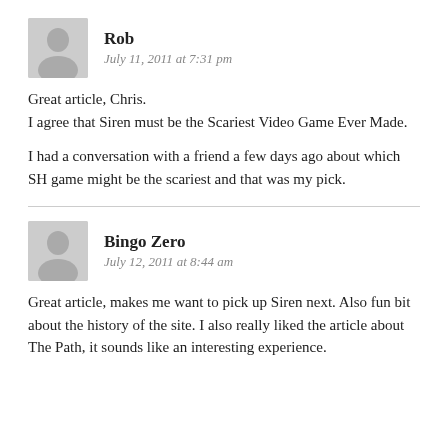[Figure (illustration): Gray avatar silhouette icon for user Rob]
Rob
July 11, 2011 at 7:31 pm
Great article, Chris.
I agree that Siren must be the Scariest Video Game Ever Made.

I had a conversation with a friend a few days ago about which SH game might be the scariest and that was my pick.
[Figure (illustration): Gray avatar silhouette icon for user Bingo Zero]
Bingo Zero
July 12, 2011 at 8:44 am
Great article, makes me want to pick up Siren next. Also fun bit about the history of the site. I also really liked the article about The Path, it sounds like an interesting experience.